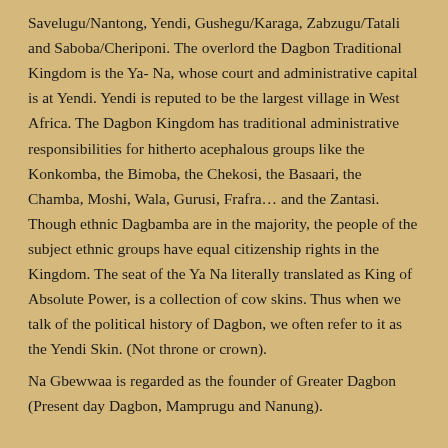Savelugu/Nantong, Yendi, Gushegu/Karaga, Zabzugu/Tatali and Saboba/Cheriponi. The overlord the Dagbon Traditional Kingdom is the Ya- Na, whose court and administrative capital is at Yendi. Yendi is reputed to be the largest village in West Africa. The Dagbon Kingdom has traditional administrative responsibilities for hitherto acephalous groups like the Konkomba, the Bimoba, the Chekosi, the Basaari, the Chamba, Moshi, Wala, Gurusi, Frafra… and the Zantasi. Though ethnic Dagbamba are in the majority, the people of the subject ethnic groups have equal citizenship rights in the Kingdom. The seat of the Ya Na literally translated as King of Absolute Power, is a collection of cow skins. Thus when we talk of the political history of Dagbon, we often refer to it as the Yendi Skin. (Not throne or crown).
Na Gbewwaa is regarded as the founder of Greater Dagbon (Present day Dagbon, Mamprugu and Nanung).